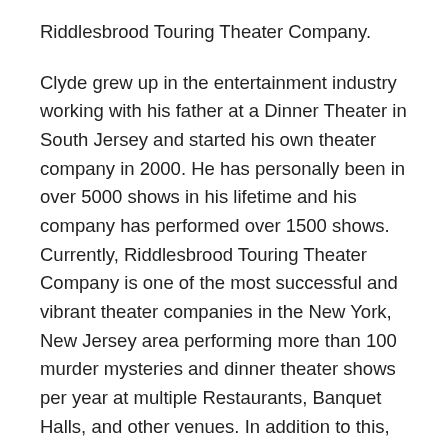Riddlesbrood Touring Theater Company.
Clyde grew up in the entertainment industry working with his father at a Dinner Theater in South Jersey and started his own theater company in 2000. He has personally been in over 5000 shows in his lifetime and his company has performed over 1500 shows. Currently, Riddlesbrood Touring Theater Company is one of the most successful and vibrant theater companies in the New York, New Jersey area performing more than 100 murder mysteries and dinner theater shows per year at multiple Restaurants, Banquet Halls, and other venues. In addition to this, Riddlesbrood produces several large ‘Broadway-style’ shows for their “Arts on the MOVE” Performing Arts Program for children and teens. Clyde is also the author of the curious novel ‘The Greatest Brochure in the World’, illustrating how storytelling can